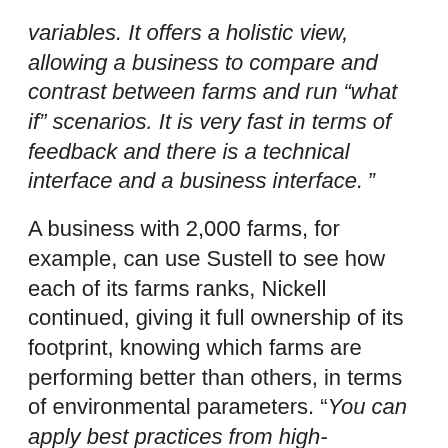variables. It offers a holistic view, allowing a business to compare and contrast between farms and run “what if” scenarios. It is very fast in terms of feedback and there is a technical interface and a business interface. ”
A business with 2,000 farms, for example, can use Sustell to see how each of its farms ranks, Nickell continued, giving it full ownership of its footprint, knowing which farms are performing better than others, in terms of environmental parameters. “You can apply best practices from high-performing farms to other farms. You can set benchmarks. It allows you to really question your business.